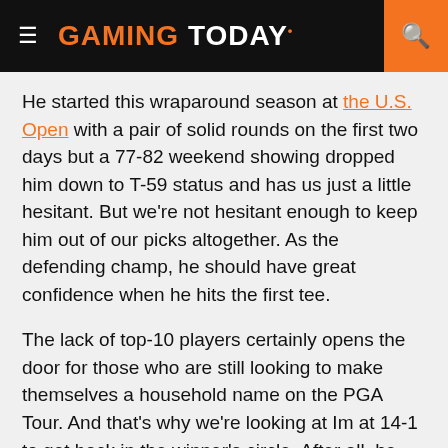GAMING TODAY
He started this wraparound season at the U.S. Open with a pair of solid rounds on the first two days but a 77-82 weekend showing dropped him down to T-59 status and has us just a little hesitant. But we're not hesitant enough to keep him out of our picks altogether. As the defending champ, he should have great confidence when he hits the first tee.
The lack of top-10 players certainly opens the door for those who are still looking to make themselves a household name on the PGA Tour. And that's why we're looking at Im at 14-1 to get back in the winner's circle. After all, he could just as easily be the defending champ as he lost in a playoff here last year to finish second.
He had couple of bad weeks starting off the FedEx Cup playoffs (certainly not like him) with a MC at The Northern